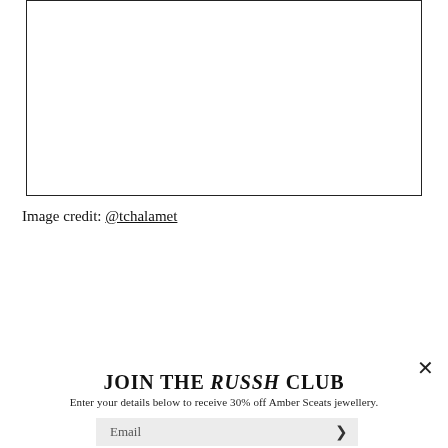[Figure (other): Empty bordered image placeholder box]
Image credit: @tchalamet
JOIN THE RUSSH CLUB
Enter your details below to receive 30% off Amber Sceats jewellery.
Email